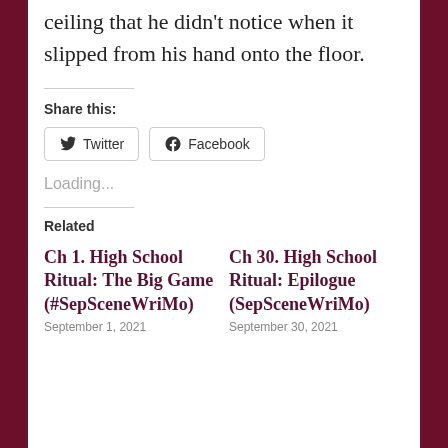ceiling that he didn't notice when it slipped from his hand onto the floor.
Share this:
[Figure (other): Twitter and Facebook share buttons]
Loading...
Related
Ch 1. High School Ritual: The Big Game (#SepSceneWriMo)
September 1, 2021
Ch 30. High School Ritual: Epilogue (SepSceneWriMo)
September 30, 2021